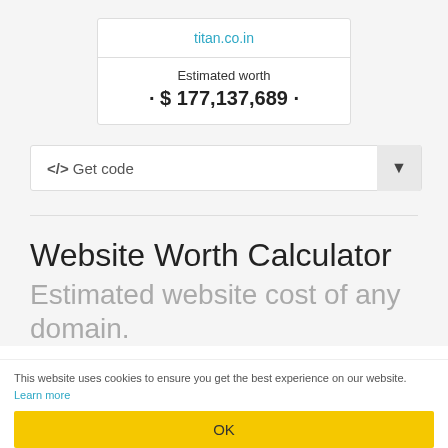| titan.co.in |
| Estimated worth
· $ 177,137,689 · |
</> Get code
Website Worth Calculator
Estimated website cost of any domain.
This website uses cookies to ensure you get the best experience on our website. Learn more
OK